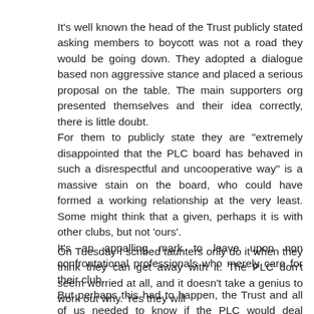It's well known the head of the Trust publicly stated asking members to boycott was not a road they would be going down. They adopted a dialogue based non aggressive stance and placed a serious proposal on the table. The main supporters org presented themselves and their idea correctly, there is little doubt.
For them to publicly state they are "extremely disappointed that the PLC board has behaved in such a disrespectful and uncooperative way" is a massive stain on the board, who could have formed a working relationship at the very least. Some might think that a given, perhaps it is with other clubs, but not 'ours'.
It's an appalling mark to leave upon non confrontational professionals who merely care for their club.
But perhaps this had to happen, the Trust and all of us needed to know if the PLC would deal honestly with a bona fide fans party, the answers a reasoning no.
On Tuesday I scribed taunters only do it when they think they can get away with it. The PLC don't seem worried at all, and it doesn't take a genius to work out why. Yes they will